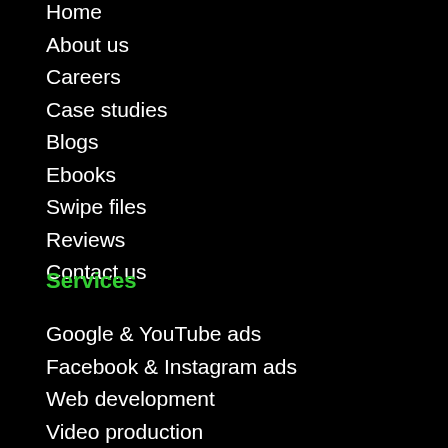Home
About us
Careers
Case studies
Blogs
Ebooks
Swipe files
Reviews
Contact us
Services
Google & YouTube ads
Facebook & Instagram ads
Web development
Video production